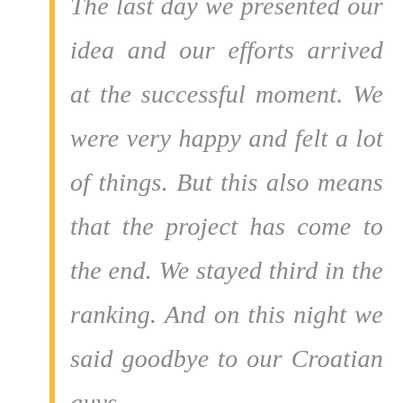The last day we presented our idea and our efforts arrived at the successful moment. We were very happy and felt a lot of things. But this also means that the project has come to the end. We stayed third in the ranking. And on this night we said goodbye to our Croatian guys.